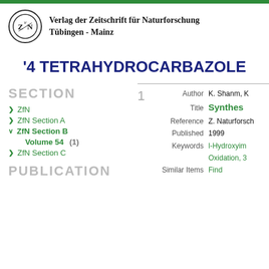[Figure (logo): VZN circular logo for Verlag der Zeitschrift für Naturforschung]
Verlag der Zeitschrift für Naturforschung
Tübingen - Mainz
'4 TETRAHYDROCARBAZOLE
SECTION
> ZfN
> ZfN Section A
∨ ZfN Section B
Volume 54 (1)
> ZfN Section C
PUBLICATION
1
Author
Title
Reference
Published
Keywords
Similar Items
K. Shanm, K...
Synthes...
Z. Naturforsch...
1999
l-Hydroxyim...
Oxidation, 3...
Find